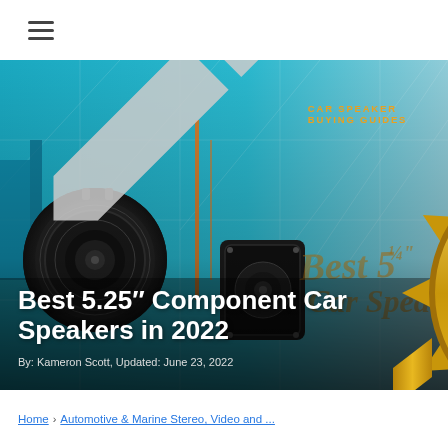Navigation bar with hamburger menu
[Figure (photo): Hero image showing car component speakers (5.25 inch) against a teal/blue graphic background with geometric patterns. A gold 'CarAudioNow's BEST OF 2022' badge is visible in the upper right. Text overlay reads 'Best 5¼ Car Spea...' in gold script in the background.]
CAR SPEAKER BUYING GUIDES
Best 5.25″ Component Car Speakers in 2022
By: Kameron Scott, Updated: June 23, 2022
Home › Automotive & Marine Stereo, Video and ...